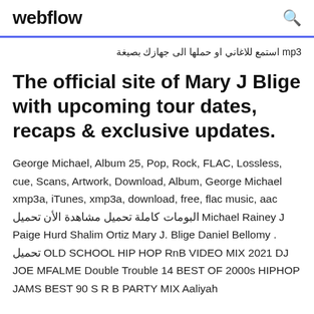webflow
استمع للاغاني او حملها الى جهازك بصيغة mp3
The official site of Mary J Blige with upcoming tour dates, recaps & exclusive updates.
George Michael, Album 25, Pop, Rock, FLAC, Lossless, cue, Scans, Artwork, Download, Album, George Michael xmp3a, iTunes, xmp3a, download, free, flac music, aac البومات كاملة تحميل مشاهدة الأن تحميل Michael Rainey J Paige Hurd Shalim Ortiz Mary J. Blige Daniel Bellomy . تحميل OLD SCHOOL HIP HOP RnB VIDEO MIX 2021 DJ JOE MFALME Double Trouble 14 BEST OF 2000s HIPHOP JAMS BEST 90 S R B PARTY MIX Aaliyah